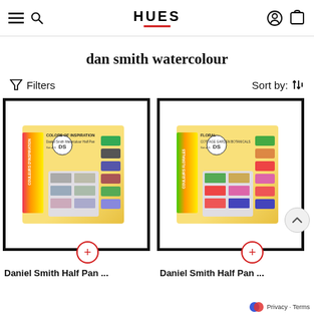HUES
dan smith watercolour
Filters   Sort by:
[Figure (photo): Daniel Smith Half Pan watercolour set box - Colors of Inspiration, set of 6 half pans]
[Figure (photo): Daniel Smith Half Pan watercolour set box - Floral, set of 6 half pans]
Daniel Smith Half Pan ...
Daniel Smith Half Pan ...